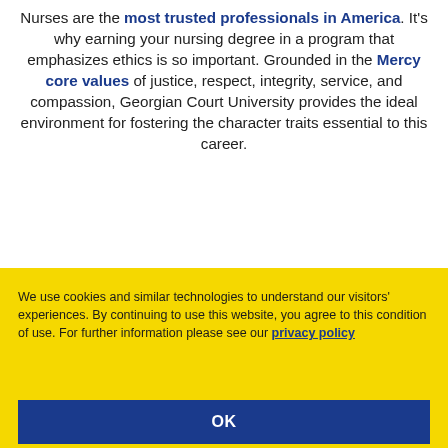Nurses are the most trusted professionals in America. It's why earning your nursing degree in a program that emphasizes ethics is so important. Grounded in the Mercy core values of justice, respect, integrity, service, and compassion, Georgian Court University provides the ideal environment for fostering the character traits essential to this career.
We use cookies and similar technologies to understand our visitors' experiences. By continuing to use this website, you agree to this condition of use. For further information please see our privacy policy
OK